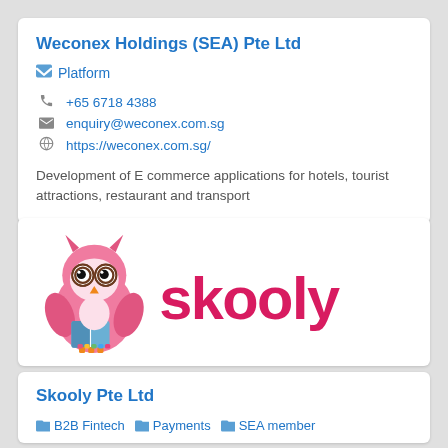Weconex Holdings (SEA) Pte Ltd
Platform
+65 6718 4388
enquiry@weconex.com.sg
https://weconex.com.sg/
Development of E commerce applications for hotels, tourist attractions, restaurant and transport
[Figure (logo): Skooly logo featuring a pink owl with glasses and the text 'skooly' in pink]
Skooly Pte Ltd
B2B Fintech  Payments  SEA member